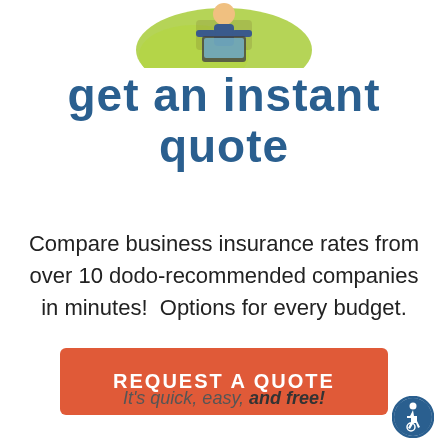[Figure (illustration): Cartoon illustration of a person sitting at a desk with a green background, partially cropped at top]
Get an Instant Quote
Compare business insurance rates from over 10 dodo-recommended companies in minutes!  Options for every budget.
REQUEST A QUOTE
It's quick, easy, and free!
[Figure (logo): Accessibility icon — wheelchair user symbol in a blue circular badge]